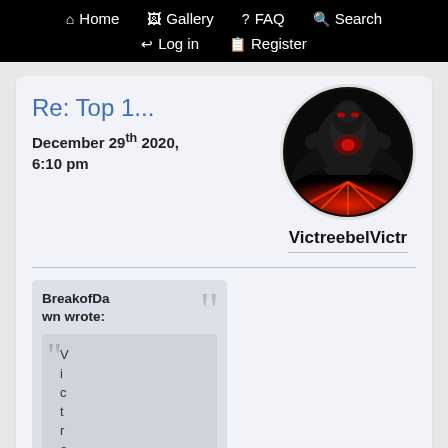Home  Gallery  FAQ  Search  Log in  Register
Re: Top 1...
December 29th 2020, 6:10 pm
[Figure (illustration): Circular avatar showing a dark armored figure with red glowing energy effects]
VictreebelVictr
BreakofDawn wrote:
V i c t r e e b e l